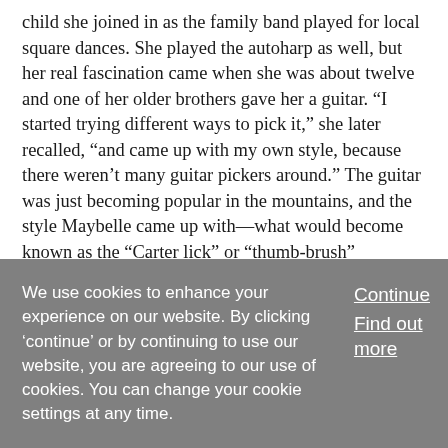child she joined in as the family band played for local square dances. She played the autoharp as well, but her real fascination came when she was about twelve and one of her older brothers gave her a guitar. “I started trying different ways to pick it,” she later recalled, “and came up with my own style, because there weren’t many guitar pickers around.” The guitar was just becoming popular in the mountains, and the style Maybelle came up with—what would become known as the “Carter lick” or “thumb-brush” technique—allowed the thumb to pick the melody on the bass strings while the fingers keep rhythm downstroking the higher strings. This permitted the guitarist to pick a melody and keep rhythm at the same time, and eventually it
We use cookies to enhance your experience on our website. By clicking 'continue' or by continuing to use our website, you are agreeing to our use of cookies. You can change your cookie settings at any time.
Continue
Find out more